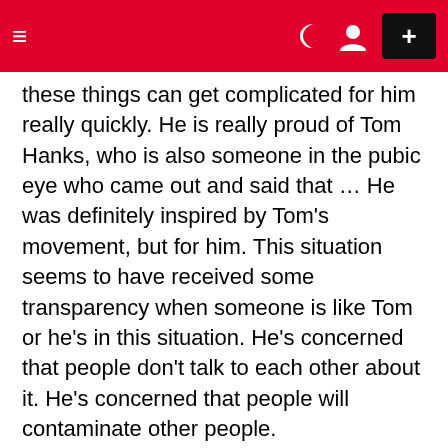≡  ) [person icon]  +
these things can get complicated for him really quickly. He is really proud of Tom Hanks, who is also someone in the pubic eye who came out and said that … He was definitely inspired by Tom's movement, but for him. This situation seems to have received some transparency when someone is like Tom or he's in this situation. He's concerned that people don't talk to each other about it. He's concerned that people will contaminate other people.
Despite the uncertainty, Idris is grateful for all the love and support she has received since going public with her test results. According to Idris love is coming out and he keeps posted on how they are doing. He really interested in what he's fans are doing.